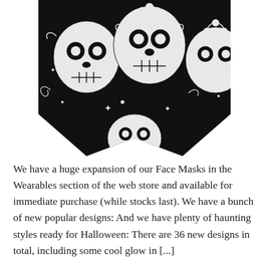[Figure (photo): A face mask with a black background and white sugar skull (Day of the Dead) pattern featuring decorative skulls with floral and ornamental designs.]
We have a huge expansion of our Face Masks in the Wearables section of the web store and available for immediate purchase (while stocks last). We have a bunch of new popular designs: And we have plenty of haunting styles ready for Halloween: There are 36 new designs in total, including some cool glow in [...]